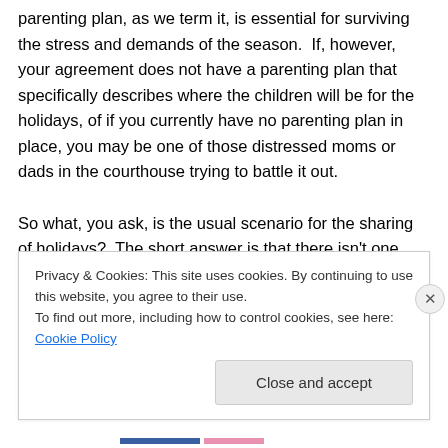parenting plan, as we term it, is essential for surviving the stress and demands of the season.  If, however, your agreement does not have a parenting plan that specifically describes where the children will be for the holidays, of if you currently have no parenting plan in place, you may be one of those distressed moms or dads in the courthouse trying to battle it out.
So what, you ask, is the usual scenario for the sharing of holidays?  The short answer is that there isn't one.  Each couple is different and therefore, the parenting plans will vary.  When drafting parenting plans I try to stick with the
Privacy & Cookies: This site uses cookies. By continuing to use this website, you agree to their use.
To find out more, including how to control cookies, see here: Cookie Policy